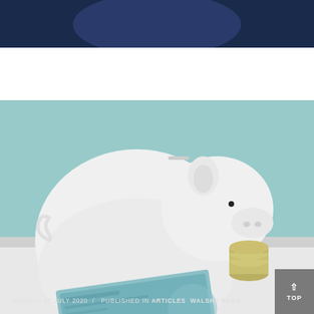[Figure (photo): Top dark navy blue banner with a rounded circle/arc shape visible at top center]
[Figure (photo): A white ceramic piggy bank sitting on a white surface with Australian currency notes and coins in front of it, against a teal/light blue background. Photo for Walsh's Blog article published Monday 27 July 2020.]
MONDAY, 27 JULY 2020  /  PUBLISHED IN ARTICLES  WALSHS BLOG